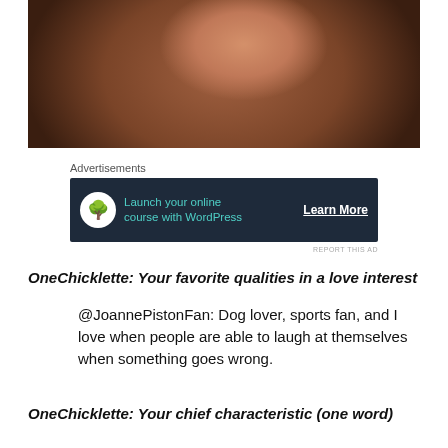[Figure (photo): Close-up photo of a woman's face and dark curly hair against a light background, cropped at the top of the page.]
Advertisements
[Figure (infographic): Advertisement banner with dark navy background. Shows a tree icon in a white circle, teal text reading 'Launch your online course with WordPress', and a white underlined 'Learn More' button.]
REPORT THIS AD
OneChicklette: Your favorite qualities in a love interest
@JoannePistonFan: Dog lover, sports fan, and I love when people are able to laugh at themselves when something goes wrong.
OneChicklette: Your chief characteristic (one word)